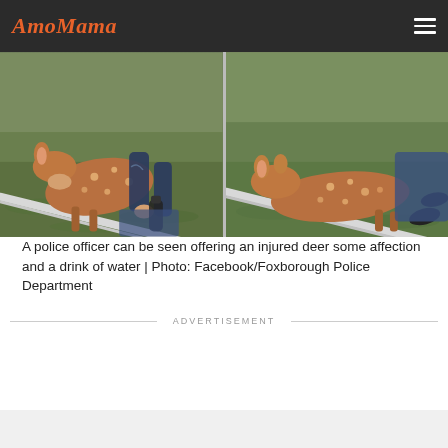AmoMama
[Figure (photo): Two side-by-side photos showing a police officer tending to an injured spotted fawn/deer on green grass. Left photo shows officer kneeling close to the deer with a water bottle. Right photo shows the deer lying on the grass with legs of a person visible nearby. A white metal fence/rail is visible in both photos.]
A police officer can be seen offering an injured deer some affection and a drink of water | Photo: Facebook/Foxborough Police Department